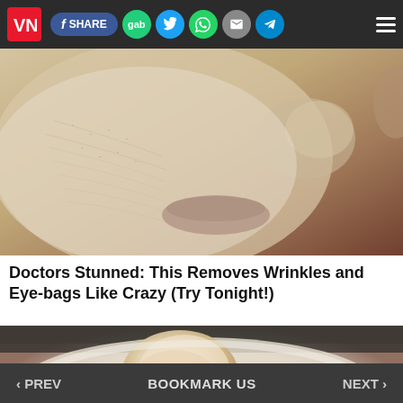VN logo with share buttons: SHARE, gab, Twitter, WhatsApp, email, Telegram, menu
[Figure (photo): Close-up photo of a person's face with a white clay or dried mask applied, showing textured skin with wrinkles, near the lower face and lips area]
Doctors Stunned: This Removes Wrinkles and Eye-bags Like Crazy (Try Tonight!)
[Figure (photo): Close-up photo of a finger or object touching/applying a treatment to an eye area, with white creamy substance around it]
‹ PREV   BOOKMARK US   NEXT ›